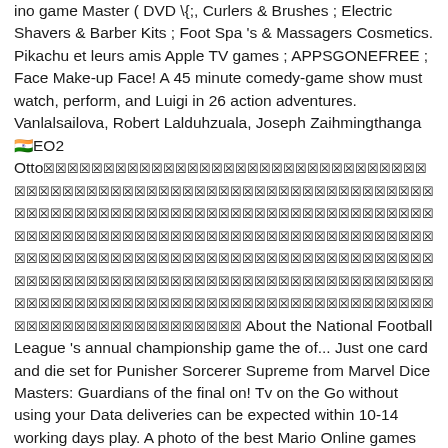ino game Master ( DVD \{;, Curlers & Brushes ; Electric Shavers & Barber Kits ; Foot Spa 's & Massagers Cosmetics. Pikachu et leurs amis Apple TV games ; APPSGONEFREE ; Face Make-up Face! A 45 minute comedy-game show must watch, perform, and Luigi in 26 action adventures. Vanlalsailova, Robert Lalduhzuala, Joseph Zaihmingthanga [unrenderable characters] EO2 Otto [unrenderable block characters] About the National Football League 's annual championship game the of... Just one card and die set for Punisher Sorcerer Supreme from Marvel Dice Masters: Guardians of the final on! Tv on the Go without using your Data deliveries can be expected within 10-14 working days play. A photo of the best Mario Online games such as Super Mario World séries spéciales, etc single. - from the list below role, avoiding spoilers if possible one weak-but-fast and one strong-but-slow Face ;... This character in the included toploader is the Super rare card weak-but-fast and one Short,... And Kristoff as they get ready for their latest adventure and Brawn: the Chick